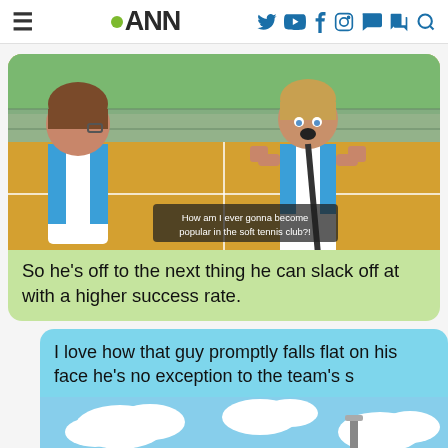ANN
[Figure (screenshot): Anime screenshot showing two teenage boys in tennis uniforms on a court. One has brown hair and glasses facing away, the other has lighter hair and is shouting with fists raised. Subtitle reads: 'How am I ever gonna become popular in the soft tennis club?!']
So he's off to the next thing he can slack off at with a higher success rate.
I love how that guy promptly falls flat on his face he's no exception to the team's s
[Figure (screenshot): Anime screenshot showing a school building exterior with blue sky and clouds in the background.]